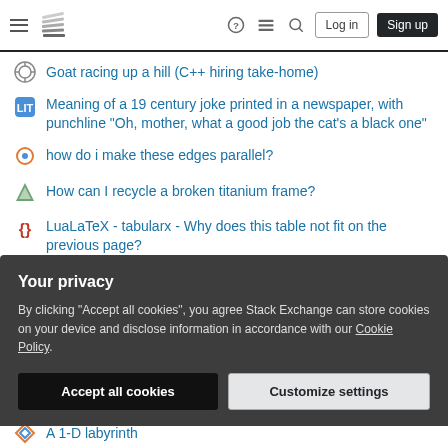Stack Exchange navigation header with hamburger menu, logo, help, chat, search, Log in, Sign up buttons
Goat racing up a hill (C++ hiring take-home)
Meaning of a 19 century joke printed in a newspaper, with punchline "Oh, mother, what a good job the cat's a black one"
how do i make these edges parallel?
How can I recycle a broken titanium frame?
LuaLaTeX - tabularx - Why does this table not fit on the previous page?
Can 漬 be considered rude and what are some alternatives?
TMP/TEMP Environment variables in Microsoft operating systems
Is This an Equivalence Relation?
Your privacy
By clicking "Accept all cookies", you agree Stack Exchange can store cookies on your device and disclose information in accordance with our Cookie Policy.
Accept all cookies
Customize settings
A 1-D labyrinth